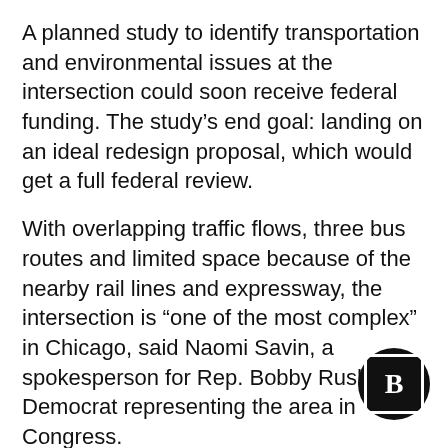A planned study to identify transportation and environmental issues at the intersection could soon receive federal funding. The study’s end goal: landing on an ideal redesign proposal, which would get a full federal review.
With overlapping traffic flows, three bus routes and limited space because of the nearby rail lines and expressway, the intersection is “one of the most complex” in Chicago, said Naomi Savin, a spokesperson for Rep. Bobby Rush, a Democrat representing the area in Congress.
The proposed study “is the best next step” finding a new design for the intersection, Sa— said.
[Figure (logo): Block Club Chicago logo — black circle with white square border and bold white letter B inside]